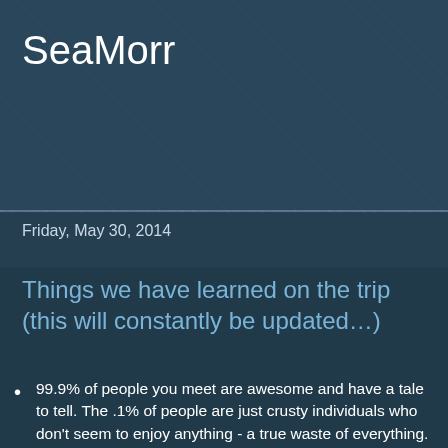SeaMorr
Friday, May 30, 2014
Things we have learned on the trip (this will constantly be updated…)
99.9% of people you meet are awesome and have a tale to tell. The .1% of people are just crusty individuals who don't seem to enjoy anything - a true waste of everything.
Use soft soap in the shower as that Dove soap will only clog the shower sump.
Don't travel on the ICW on the weekends in the Fort Lauderdale and Miami areas. The boaters